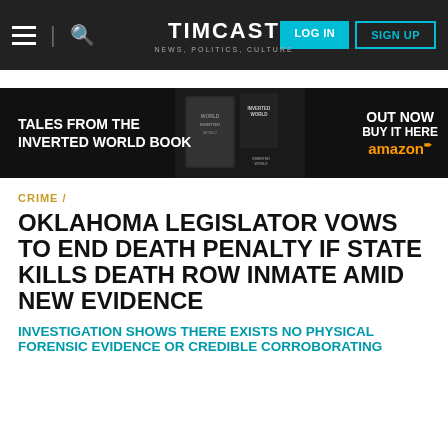TIMCAST | NEWS, POLITICS, CULTURE | LOG IN | SIGN UP
[Figure (screenshot): Timcast website navigation bar with hamburger menu, search icon, TIMCAST logo with tagline 'NEWS, POLITICS, CULTURE', and LOG IN / SIGN UP buttons]
[Figure (infographic): Advertisement banner for 'Tales from the Inverted World Book' showing book images, text 'OUT NOW' and 'BUY IT HERE amazon']
CRIME /
OKLAHOMA LEGISLATOR VOWS TO END DEATH PENALTY IF STATE KILLS DEATH ROW INMATE AMID NEW EVIDENCE
INVESTIGATION SHOWS THERE EXISTS NO PHYSICAL FORENSIC EVIDENCE OR CREDIBLE CORROBORATING